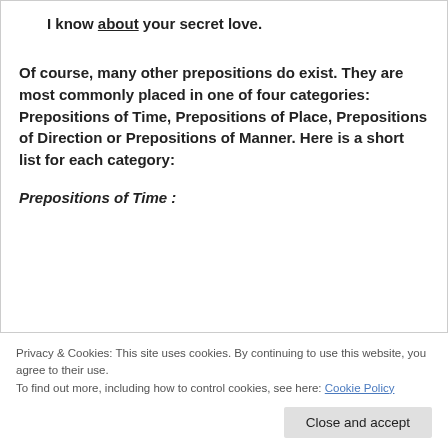I know about your secret love.
Of course, many other prepositions do exist. They are most commonly placed in one of four categories: Prepositions of Time, Prepositions of Place, Prepositions of Direction or Prepositions of Manner.  Here is a short list for each category:
Prepositions of Time :
Privacy & Cookies: This site uses cookies. By continuing to use this website, you agree to their use.
To find out more, including how to control cookies, see here: Cookie Policy
behind, below, beneath, beside, between, by, in